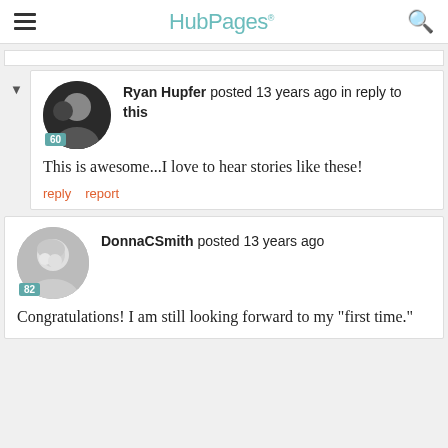HubPages
Ryan Hupfer posted 13 years ago in reply to this

This is awesome...I love to hear stories like these!

reply   report
DonnaCSmith posted 13 years ago

Congratulations! I am still looking forward to my "first time."